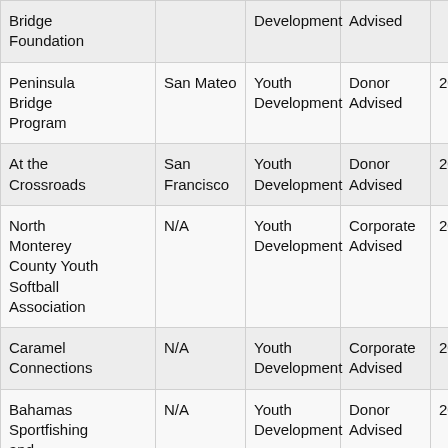| Organization | County | Category | Grant Type | Year |  |
| --- | --- | --- | --- | --- | --- |
| Bridge Foundation |  | Development | Advised |  |  |
| Peninsula Bridge Program | San Mateo | Youth Development | Donor Advised | 2018 |  |
| At the Crossroads | San Francisco | Youth Development | Donor Advised | 2018 |  |
| North Monterey County Youth Softball Association | N/A | Youth Development | Corporate Advised | 2018 |  |
| Caramel Connections | N/A | Youth Development | Corporate Advised | 2018 |  |
| Bahamas Sportfishing and Conservation Corporation | N/A | Youth Development | Donor Advised | 2018 |  |
| StreetCode Academy | San Mateo | Youth Development | Donor Advised | 2018 |  |